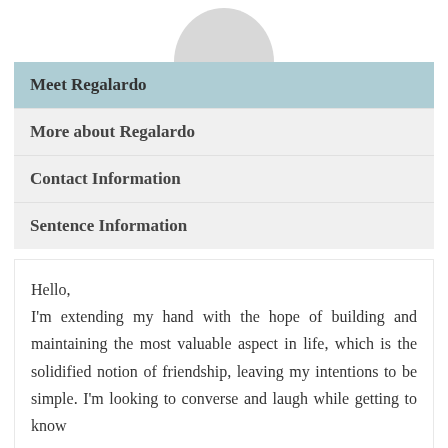[Figure (illustration): Partial circular profile avatar silhouette (grey semicircle) at top center of page]
Meet Regalardo
More about Regalardo
Contact Information
Sentence Information
Hello,
I'm extending my hand with the hope of building and maintaining the most valuable aspect in life, which is the solidified notion of friendship, leaving my intentions to be simple. I'm looking to converse and laugh while getting to know